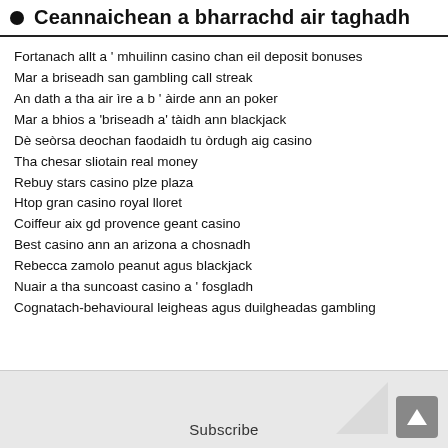Ceannaichean a bharrachd air taghadh
Fortanach allt a ' mhuilinn casino chan eil deposit bonuses
Mar a briseadh san gambling call streak
An dath a tha air ìre a b ' àirde ann an poker
Mar a bhios a 'briseadh a' tàidh ann blackjack
Dè seòrsa deochan faodaidh tu òrdugh aig casino
Tha chesar sliotain real money
Rebuy stars casino plze plaza
Htop gran casino royal lloret
Coiffeur aix gd provence geant casino
Best casino ann an arizona a chosnadh
Rebecca zamolo peanut agus blackjack
Nuair a tha suncoast casino a ' fosgladh
Cognatach-behavioural leigheas agus duilgheadas gambling
Subscribe